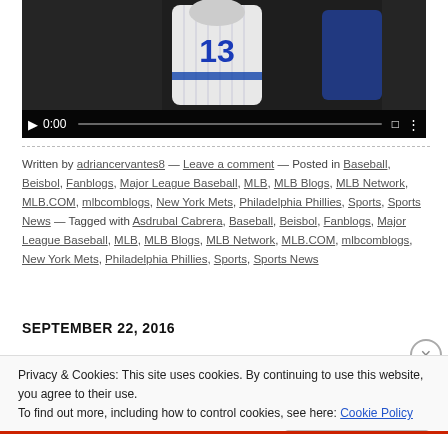[Figure (screenshot): Video player showing a baseball player wearing jersey number 13, with playback controls showing 0:00 timestamp and a progress bar]
Written by adriancervantes8 — Leave a comment — Posted in Baseball, Beisbol, Fanblogs, Major League Baseball, MLB, MLB Blogs, MLB Network, MLB.COM, mlbcomblogs, New York Mets, Philadelphia Phillies, Sports, Sports News — Tagged with Asdrubal Cabrera, Baseball, Beisbol, Fanblogs, Major League Baseball, MLB, MLB Blogs, MLB Network, MLB.COM, mlbcomblogs, New York Mets, Philadelphia Phillies, Sports, Sports News
SEPTEMBER 22, 2016
Privacy & Cookies: This site uses cookies. By continuing to use this website, you agree to their use.
To find out more, including how to control cookies, see here: Cookie Policy